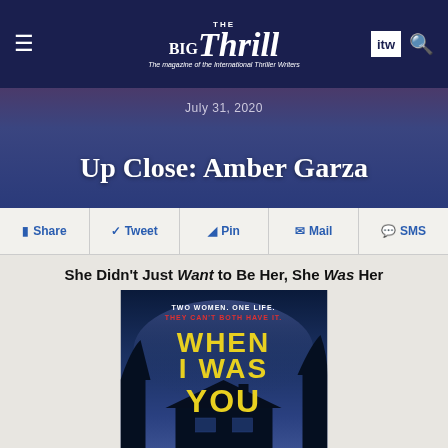The Big Thrill — The magazine of the International Thriller Writers
July 31, 2020
Up Close: Amber Garza
Share  Tweet  Pin  Mail  SMS
She Didn't Just Want to Be Her, She Was Her
[Figure (photo): Book cover of 'When I Was You' by Amber Garza. Dark blue/night sky background with a house silhouette. Text: 'TWO WOMEN. ONE LIFE. THEY CAN'T BOTH HAVE IT.' in white and red. Large yellow block letters: WHEN I WAS YOU]